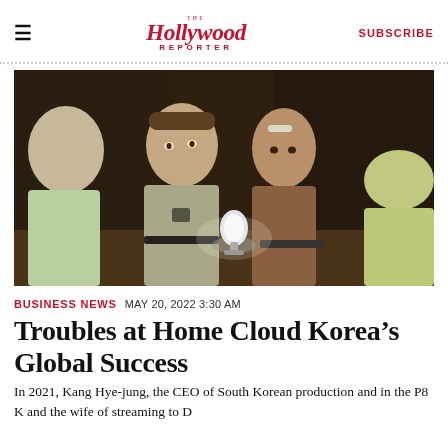The Hollywood Reporter | SUBSCRIBE
[Figure (photo): Scene from a film or TV production: four actors gathered around a glowing lamp in a dimly lit interior setting. Two men face each other across the lamp — an older man in a grey shirt and a younger man in a brown shirt — while two others are seen from behind.]
BUSINESS NEWS   MAY 20, 2022 3:30 AM
Troubles at Home Cloud Korea's Global Success
In 2021, Kang Hye-jung, the CEO of South Korean production and in the P8 K and the wife of streaming to D...